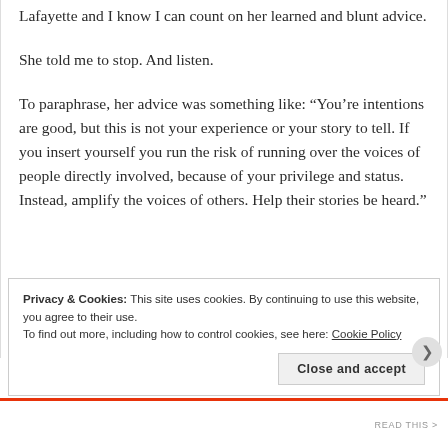Lafayette and I know I can count on her learned and blunt advice.
She told me to stop. And listen.
To paraphrase, her advice was something like: “You’re intentions are good, but this is not your experience or your story to tell. If you insert yourself you run the risk of running over the voices of people directly involved, because of your privilege and status. Instead, amplify the voices of others. Help their stories be heard.”
Privacy & Cookies: This site uses cookies. By continuing to use this website, you agree to their use.
To find out more, including how to control cookies, see here: Cookie Policy
Close and accept